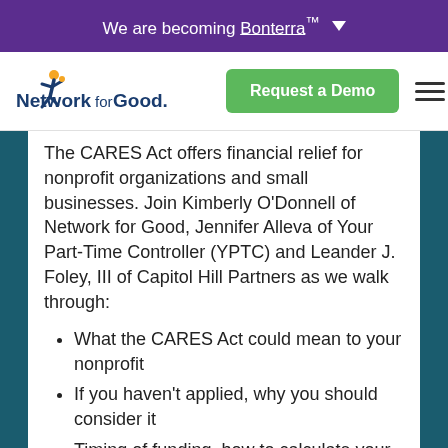We are becoming Bonterra™ ▾
[Figure (logo): Network for Good logo with stylized running figure in blue and yellow, followed by 'Network for Good.' text]
The CARES Act offers financial relief for nonprofit organizations and small businesses. Join Kimberly O'Donnell of Network for Good, Jennifer Alleva of Your Part-Time Controller (YPTC) and Leander J. Foley, III of Capitol Hill Partners as we walk through:
What the CARES Act could mean to your nonprofit
If you haven't applied, why you should consider it
Timing of funding, how to calculate your requested loan and accounting needs